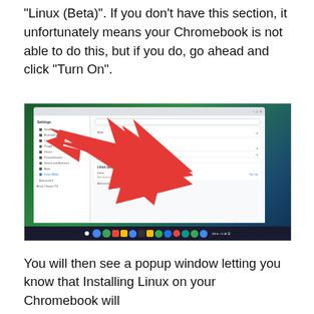“Linux (Beta)”. If you don’t have this section, it unfortunately means your Chromebook is not able to do this, but if you do, go ahead and click “Turn On”.
[Figure (screenshot): Screenshot of Chrome OS Settings page showing Linux (Beta) section with a large red arrow pointing to the Linux (Beta) option with a Turn on button.]
You will then see a popup window letting you know that Installing Linux on your Chromebook will